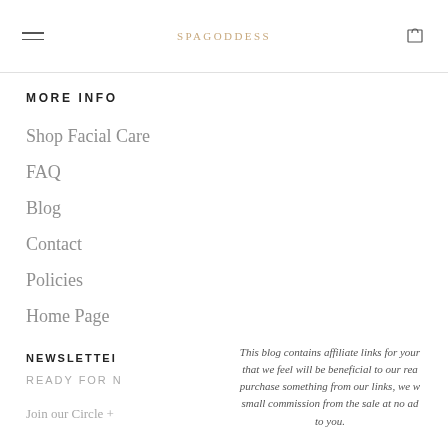SPAGODDESS
MORE INFO
Shop Facial Care
FAQ
Blog
Contact
Policies
Home Page
NEWSLETTER
READY FOR N
Join our Circle +
This blog contains affiliate links for your that we feel will be beneficial to our rea purchase something from our links, we w small commission from the sale at no ad to you.